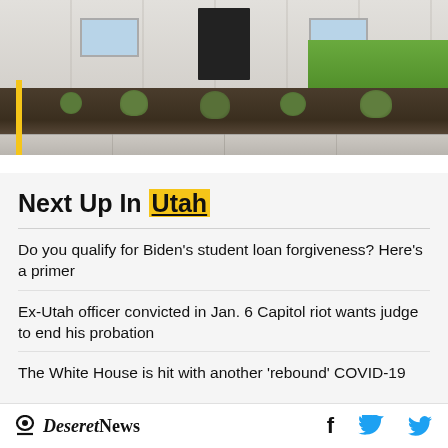[Figure (photo): Exterior photo of a house with mulch landscaping bed in front, a yellow vertical bar/line on the left side, green lawn visible on the right, and concrete sidewalk at bottom.]
Next Up In Utah
Do you qualify for Biden's student loan forgiveness? Here's a primer
Ex-Utah officer convicted in Jan. 6 Capitol riot wants judge to end his probation
The White House is hit with another 'rebound' COVID-19
Deseret News  [facebook] [twitter]